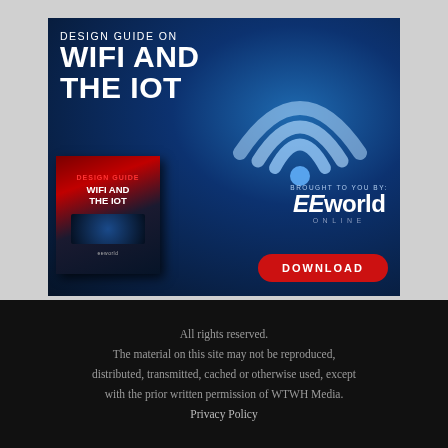[Figure (illustration): Advertisement banner for EEworld Online Design Guide on WiFi and the IoT. Dark blue background with glowing WiFi symbol and robotic hand. Shows a book cover with 'WiFi AND THE IOT' title, text 'DESIGN GUIDE ON WIFI AND THE IOT', 'BROUGHT TO YOU BY: EEworld ONLINE', and a red DOWNLOAD button.]
All rights reserved. The material on this site may not be reproduced, distributed, transmitted, cached or otherwise used, except with the prior written permission of WTWH Media. Privacy Policy